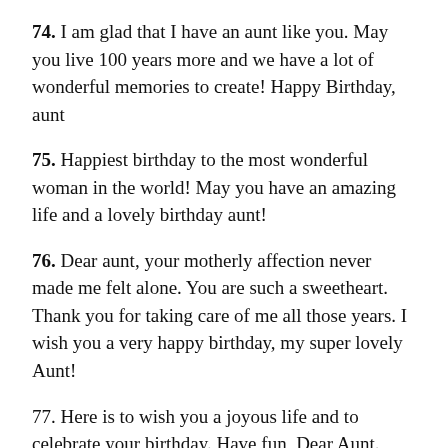74. I am glad that I have an aunt like you. May you live 100 years more and we have a lot of wonderful memories to create! Happy Birthday, aunt
75. Happiest birthday to the most wonderful woman in the world! May you have an amazing life and a lovely birthday aunt!
76. Dear aunt, your motherly affection never made me felt alone. You are such a sweetheart. Thank you for taking care of me all those years. I wish you a very happy birthday, my super lovely Aunt!
77. Here is to wish you a joyous life and to celebrate your birthday. Have fun, Dear Aunt.
78. I hope that God continues to bless you day after day and provide you with the best things in life: